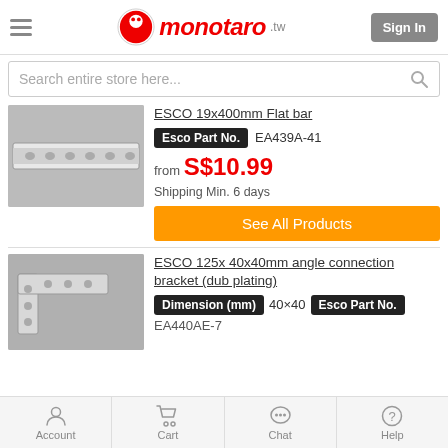monotaro.tw | Sign In
Search entire store here...
ESCO 19x400mm Flat bar
Esco Part No. EA439A-41
from S$10.99
Shipping Min. 6 days
See All Products
[Figure (photo): Photo of ESCO 19x400mm Flat bar metal strip with holes]
ESCO 125x 40x40mm angle connection bracket (dub plating)
Dimension (mm) 40×40 Esco Part No. EA440AE-7
[Figure (photo): Photo of ESCO 125x 40x40mm angle connection bracket (dub plating)]
Account | Cart | Chat | Help